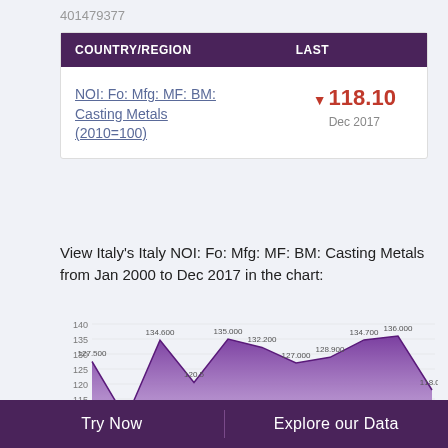401479377
| COUNTRY/REGION | LAST |
| --- | --- |
| NOI: Fo: Mfg: MF: BM: Casting Metals (2010=100) | ▼ 118.10
Dec 2017 |
View Italy's Italy NOI: Fo: Mfg: MF: BM: Casting Metals from Jan 2000 to Dec 2017 in the chart:
[Figure (area-chart): Italy NOI: Fo: Mfg: MF: BM: Casting Metals]
Try Now    Explore our Data